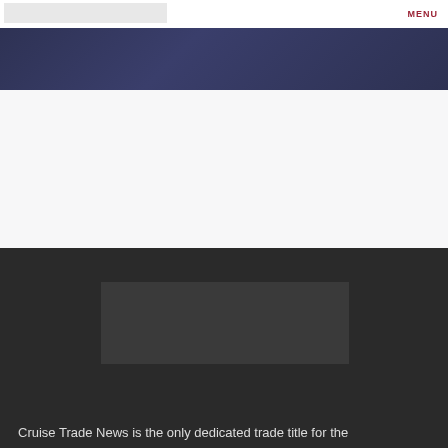MENU
[Figure (other): Navy/dark blue gradient banner bar]
[Figure (other): Light grey off-white blank section]
[Figure (other): Dark section with inner grey rectangle placeholder]
Cruise Trade News is the only dedicated trade title for the